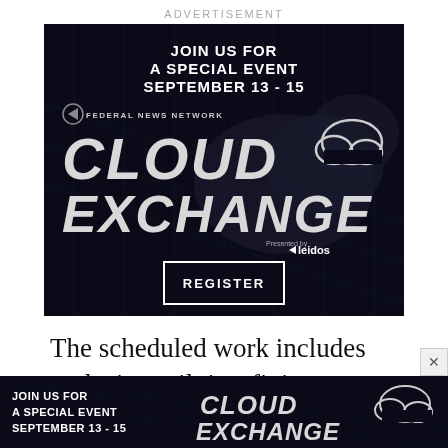ADVERTISEMENT
[Figure (illustration): Federal News Network Cloud Exchange advertisement banner. Dark background with grid lines. Text reads: JOIN US FOR A SPECIAL EVENT SEPTEMBER 13 - 15. Federal News Network logo and text. CLOUD EXCHANGE in large metallic letters. Presented by Leidos. REGISTER button with white border.]
The scheduled work includes replacing rail ties, fixing power issues and handling other basic issues along the tracks.
[Figure (illustration): Bottom sticky banner advertisement for Federal News Network Cloud Exchange. JOIN US FOR A SPECIAL EVENT SEPTEMBER 13 - 15 on left, CLOUD EXCHANGE logo on right.]